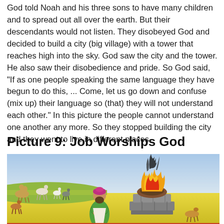God told Noah and his three sons to have many children and to spread out all over the earth. But their descendants would not listen. They disobeyed God and decided to build a city (big village) with a tower that reaches high into the sky. God saw the city and the tower. He also saw their disobedience and pride. So God said, "If as one people speaking the same language they have begun to do this, ... Come, let us go down and confuse (mix up) their language so (that) they will not understand each other." In this picture the people cannot understand one another any more. So they stopped building the city and they went to live in different places.
Picture 9: Job Worships God
[Figure (illustration): Illustration showing Job worshipping God. A man in green robes and pink turban stands with hands clasped in prayer before a stone altar with a large fire and burning sacrifice on top. In the background are various animals including goats, horses, camels and other livestock in a pastoral landscape.]